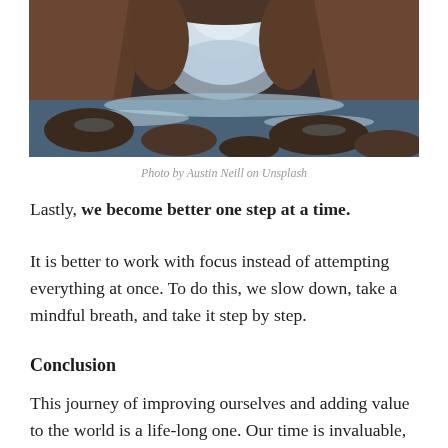[Figure (photo): A dark coastal sea cave with an arched rock opening letting in light, waves washing over rocky shore in the foreground, moody tones of blue and warm brown.]
Photo by Austin Neill on Unsplash
Lastly, we become better one step at a time.
It is better to work with focus instead of attempting everything at once. To do this, we slow down, take a mindful breath, and take it step by step.
Conclusion
This journey of improving ourselves and adding value to the world is a life-long one. Our time is invaluable, but